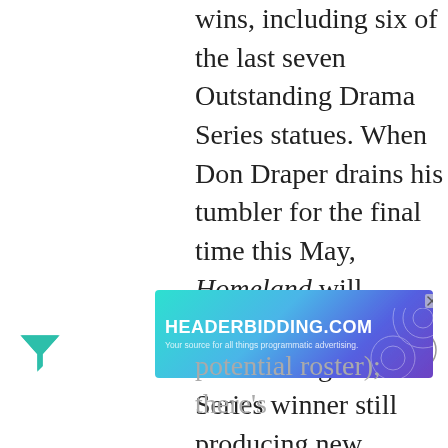wins, including six of the last seven Outstanding Drama Series statues. When Don Draper drains his tumbler for the final time this May, Homeland will become the only Outstanding Drama Series winner still producing new episodes. While these departures create opportunities for talented underclassmen and prized recruits to make an
[Figure (logo): Teal funnel/filter icon on left side]
[Figure (other): Close/X circle button on right side]
[Figure (screenshot): Advertisement banner for HEADERBIDDING.COM - Your source for all things programmatic advertising. Teal/blue/purple gradient background with decorative circular pattern on right side and X close button.]
potential roster); there's